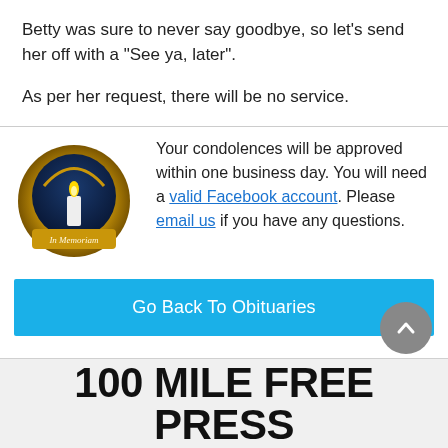Betty was sure to never say goodbye, so let’s send her off with a “See ya, later”.
As per her request, there will be no service.
Your condolences will be approved within one business day. You will need a valid Facebook account. Please email us if you have any questions.
Go Back To Obituaries
100 MILE FREE PRESS